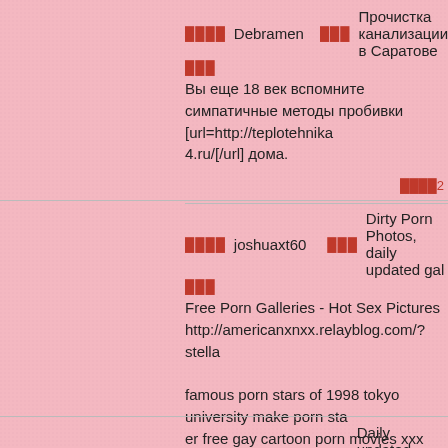████Debramen    ███Прочистка канализации в Саратове
███
Вы еще 18 век вспомните симпатичные методы пробивки [url=http://teplotehnika4.ru/[/url] дома.
████joshuaxt60    ███Dirty Porn Photos, daily updated gal
███
Free Porn Galleries - Hot Sex Pictures
http://americanxnxx.relayblog.com/?stella

famous porn stars of 1998 tokyo university make porn star er free gay cartoon porn movies xxx toon 3d porn
████maeoy60    ███Daily updated super sexy photo galler
███
Best Nude Playmates & Centerfolds, Beautiful galleries d
http://shemaleindurban.hotblognetwork.com/?alysa